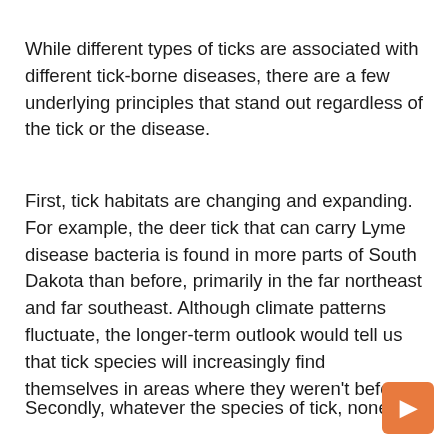While different types of ticks are associated with different tick-borne diseases, there are a few underlying principles that stand out regardless of the tick or the disease.
First, tick habitats are changing and expanding. For example, the deer tick that can carry Lyme disease bacteria is found in more parts of South Dakota than before, primarily in the far northeast and far southeast. Although climate patterns fluctuate, the longer-term outlook would tell us that tick species will increasingly find themselves in areas where they weren't before.
Secondly, whatever the species of tick, none is